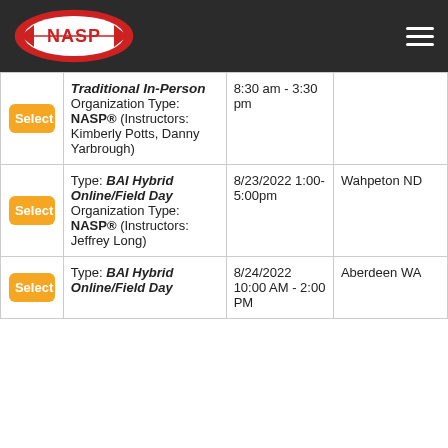NASP® website header with logo and navigation menu
|  | Course Type / Details | Date/Time | Location |
| --- | --- | --- | --- |
| Select | Traditional In-Person
Organization Type: NASP® (Instructors: Kimberly Potts, Danny Yarbrough) | 8:30 am - 3:30 pm |  |
| Select | Type: BAI Hybrid Online/Field Day
Organization Type: NASP® (Instructors: Jeffrey Long) | 8/23/2022 1:00-5:00pm | Wahpeton ND |
| Select | Type: BAI Hybrid Online/Field Day | 8/24/2022 10:00 AM - 2:00 PM | Aberdeen WA |